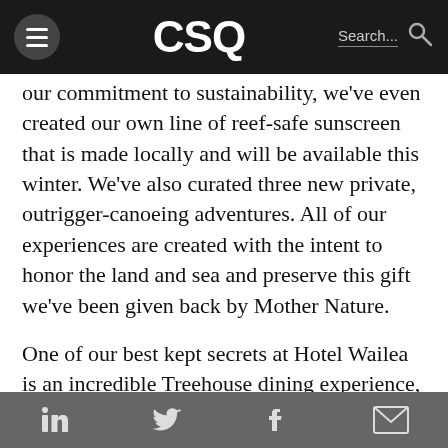CSQ [navigation bar with hamburger menu, CSQ logo, and search]
our commitment to sustainability, we've even created our own line of reef-safe sunscreen that is made locally and will be available this winter. We've also curated three new private, outrigger-canoeing adventures. All of our experiences are created with the intent to honor the land and sea and preserve this gift we've been given back by Mother Nature.
One of our best kept secrets at Hotel Wailea is an incredible Treehouse dining experience, this dinner takes place in our private, open-air Treehouse with
Social share icons: LinkedIn, Twitter, Facebook, Email